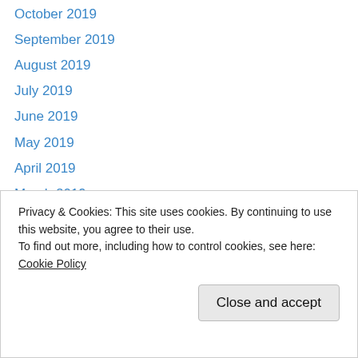November 2019
October 2019
September 2019
August 2019
July 2019
June 2019
May 2019
April 2019
March 2019
February 2019
January 2019
December 2018
November 2018
October 2018
April 2018
Privacy & Cookies: This site uses cookies. By continuing to use this website, you agree to their use.
To find out more, including how to control cookies, see here: Cookie Policy
Close and accept